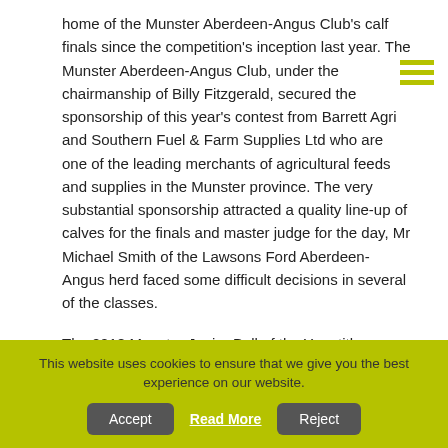home of the Munster Aberdeen-Angus Club's calf finals since the competition's inception last year. The Munster Aberdeen-Angus Club, under the chairmanship of Billy Fitzgerald, secured the sponsorship of this year's contest from Barrett Agri and Southern Fuel & Farm Supplies Ltd who are one of the leading merchants of agricultural feeds and supplies in the Munster province. The very substantial sponsorship attracted a quality line-up of calves for the finals and master judge for the day, Mr Michael Smith of the Lawsons Ford Aberdeen-Angus herd faced some difficult decisions in several of the classes.

The 2018 Munster Junior Bull of the Year title was awarded to Albert & Jennifer DeCogan, Killamuckey, Castlemartyr, Co. Cork with their October 2017 born bull calf, Mogeely Jerry T544. This one was a 1st prize-winner at the National Livestock
This website uses cookies to ensure that we give you the best experience on our website.